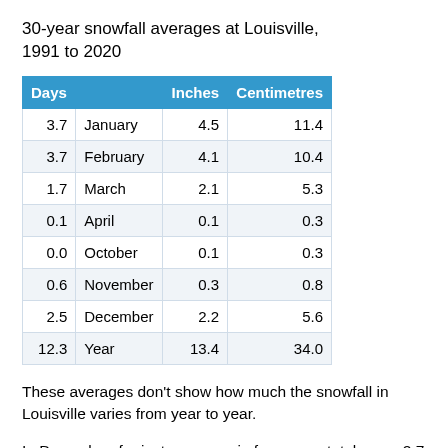30-year snowfall averages at Louisville, 1991 to 2020
| Days |  | Inches | Centimetres |
| --- | --- | --- | --- |
| 3.7 | January | 4.5 | 11.4 |
| 3.7 | February | 4.1 | 10.4 |
| 1.7 | March | 2.1 | 5.3 |
| 0.1 | April | 0.1 | 0.3 |
| 0.0 | October | 0.1 | 0.3 |
| 0.6 | November | 0.3 | 0.8 |
| 2.5 | December | 2.2 | 5.6 |
| 12.3 | Year | 13.4 | 34.0 |
These averages don't show how much the snowfall in Louisville varies from year to year.
In December, for instance, one in four years totals over 2.7 inches of snow. Another 25 percent of years receive less than 0.1 inches for the month.